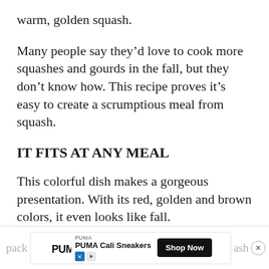warm, golden squash.
Many people say they'd love to cook more squashes and gourds in the fall, but they don't know how. This recipe proves it's easy to create a scrumptious meal from squash.
IT FITS AT ANY MEAL
This colorful dish makes a gorgeous presentation. With its red, golden and brown colors, it even looks like fall.
This recipe is packed with flavor, and it's also
[Figure (other): Advertisement banner for PUMA Cali Sneakers with Shop Now button and close button. Partially obscures text below.]